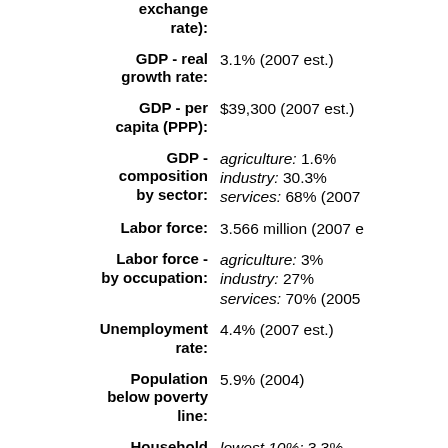exchange rate):
GDP - real growth rate: 3.1% (2007 est.)
GDP - per capita (PPP): $39,300 (2007 est.)
GDP - composition by sector: agriculture: 1.6% industry: 30.3% services: 68% (2007
Labor force: 3.566 million (2007 e
Labor force - by occupation: agriculture: 3% industry: 27% services: 70% (2005
Unemployment rate: 4.4% (2007 est.)
Population below poverty line: 5.9% (2004)
Household income or consumption: lowest 10%: 3.3% highest 10%: 22.5% (2004)